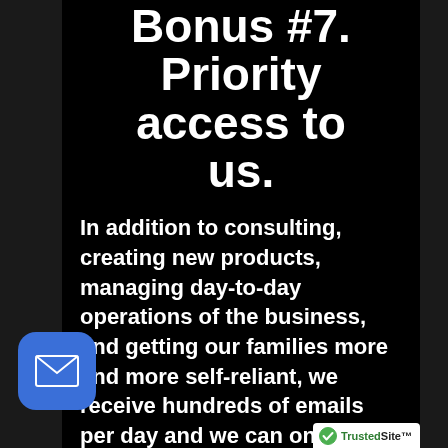Bonus #7. Priority access to us.
In addition to consulting, creating new products, managing day-to-day operations of the business, and getting our families more and more self-reliant, we receive hundreds of emails per day and we can only answer a tiny fraction of them. Tactics and Preparedness members will receive priority email access. This isn't a blank check to g...